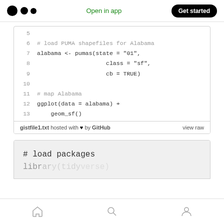Open in app  Get started
[Figure (screenshot): Code block showing R code lines 5-13: loading PUMA shapefiles for Alabama using pumas() function and mapping with ggplot and geom_sf()]
gistfile1.txt hosted with ♥ by GitHub  view raw
[Figure (screenshot): Partial code block showing beginning of R code: # load packages, then partial next line]
Home  Search  Profile navigation icons